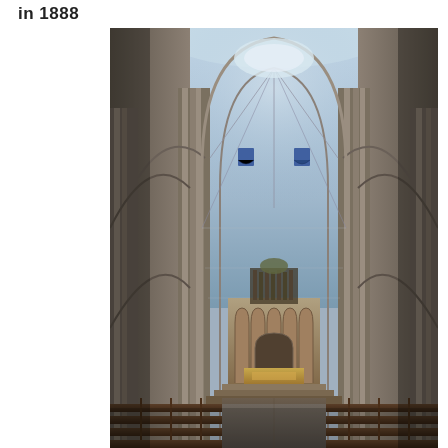in 1888
[Figure (photo): Interior of a Gothic cathedral (likely York Minster) showing the nave looking toward the altar. Tall clustered columns rise on both sides, ribbed vaulted ceiling extends into the distance, wooden pews line the nave floor, and an ornate altar screen and golden altar table are visible at the far end.]